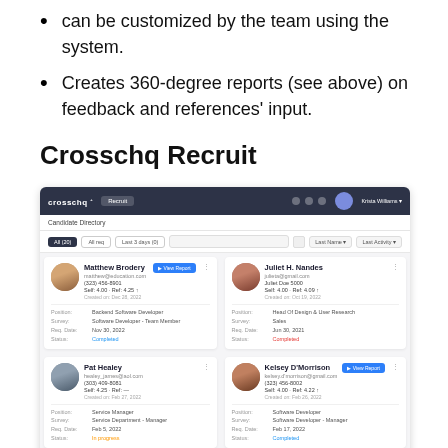can be customized by the team using the system.
Creates 360-degree reports (see above) on feedback and references' input.
Crosschq Recruit
[Figure (screenshot): Screenshot of Crosschq Recruit candidate directory interface showing a dark navigation bar with the Crosschq logo, a Recruit tab, and user avatar. Below is a Candidate Directory section with filter controls and a grid of candidate cards including Matthew Brodery, Juliet H. Nandes, Pat Healey, Kelsey D'Morrison, Daniel Harris, and Lisa Pontz, each showing name, email, scores, position, survey, req date, and status.]